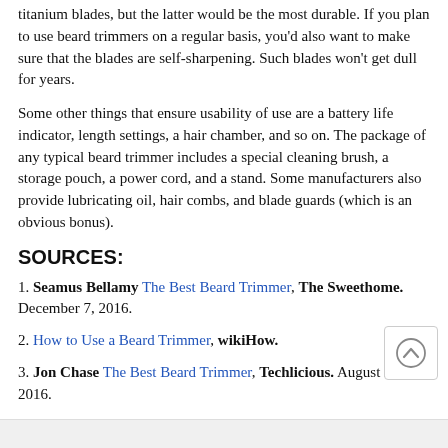titanium blades, but the latter would be the most durable. If you plan to use beard trimmers on a regular basis, you'd also want to make sure that the blades are self-sharpening. Such blades won't get dull for years.
Some other things that ensure usability of use are a battery life indicator, length settings, a hair chamber, and so on. The package of any typical beard trimmer includes a special cleaning brush, a storage pouch, a power cord, and a stand. Some manufacturers also provide lubricating oil, hair combs, and blade guards (which is an obvious bonus).
SOURCES:
1. Seamus Bellamy The Best Beard Trimmer, The Sweethome. December 7, 2016.
2. How to Use a Beard Trimmer, wikiHow.
3. Jon Chase The Best Beard Trimmer, Techlicious. August 23, 2016.
4. A Buying Guide for Men's Beard Trimmers, eBay. January 2015.